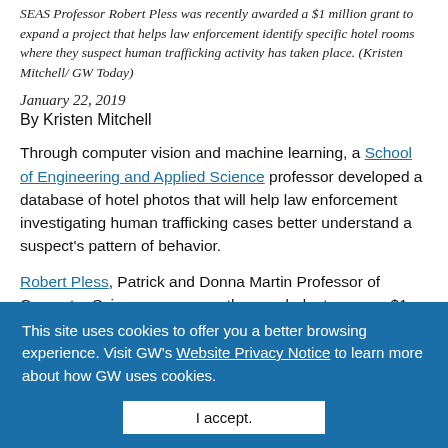SEAS Professor Robert Pless was recently awarded a $1 million grant to expand a project that helps law enforcement identify specific hotel rooms where they suspect human trafficking activity has taken place. (Kristen Mitchell/ GW Today)
January 22, 2019
By Kristen Mitchell
Through computer vision and machine learning, a School of Engineering and Applied Science professor developed a database of hotel photos that will help law enforcement investigating human trafficking cases better understand a suspect's pattern of behavior.
Robert Pless, Patrick and Donna Martin Professor of Computer Science, was recently awarded a two-year, $1
This site uses cookies to offer you a better browsing experience. Visit GW's Website Privacy Notice to learn more about how GW uses cookies.